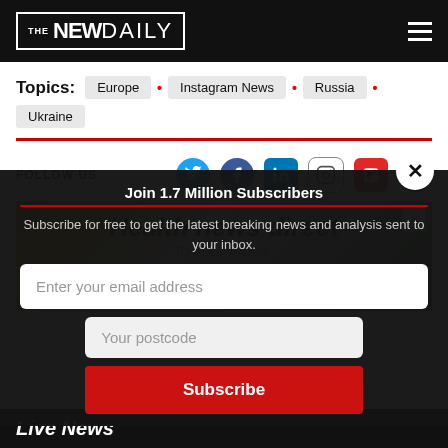THE NEW DAILY
Topics: Europe • Instagram News • Russia • Ukraine
FOLLOW US
[Figure (screenshot): Advertisement image showing health-related items with text overlay: Health news direct to your inbox, monthly]
Join 1.7 Million Subscribers
Subscribe for free to get the latest breaking news and analysis sent to your inbox.
Enter your email address
Your postcode
Subscribe
Live News